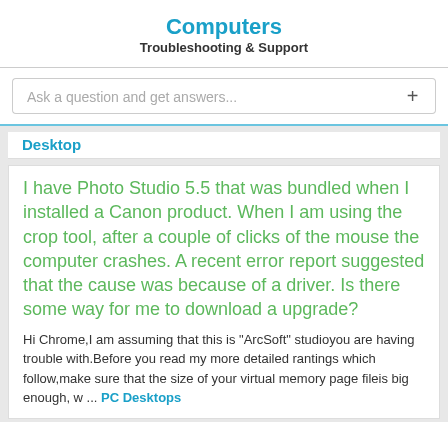Computers
Troubleshooting & Support
Desktop
I have Photo Studio 5.5 that was bundled when I installed a Canon product. When I am using the crop tool, after a couple of clicks of the mouse the computer crashes. A recent error report suggested that the cause was because of a driver. Is there some way for me to download a upgrade?
Hi Chrome,I am assuming that this is "ArcSoft" studioyou are having trouble with.Before you read my more detailed rantings which follow,make sure that the size of your virtual memory page fileis big enough, w ... PC Desktops